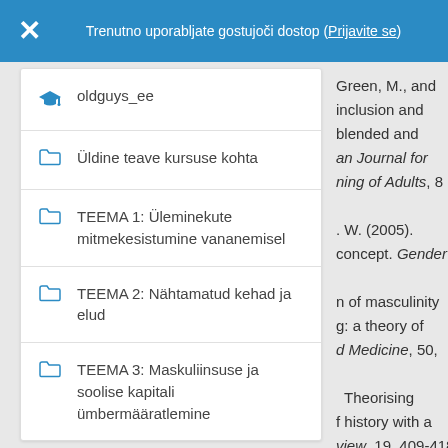Trenutno uporabljate gostujoči dostop (Prijavite se)
oldguys_ee
Üldine teave kursuse kohta
TEEMA 1: Üleminekute mitmekesistumine vananemisel
TEEMA 2: Nähtamatud kehad ja elud
TEEMA 3: Maskuliinsuse ja soolise kapitali ümbermääratlemine
Green, M., and inclusion and blended and an Journal for ning of Adults, 8 . W. (2005). concept. Gender n of masculinity g: a theory of d Medicine, 50, Theorising f history with a view, 19, 409-418.